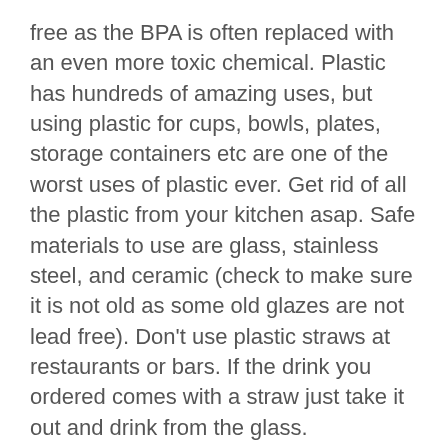free as the BPA is often replaced with an even more toxic chemical. Plastic has hundreds of amazing uses, but using plastic for cups, bowls, plates, storage containers etc are one of the worst uses of plastic ever. Get rid of all the plastic from your kitchen asap. Safe materials to use are glass, stainless steel, and ceramic (check to make sure it is not old as some old glazes are not lead free). Don't use plastic straws at restaurants or bars. If the drink you ordered comes with a straw just take it out and drink from the glass.
Another large source of toxic chemicals is covering food with plastic wrap and heating it up in the microwave. Heat accelerates the leaching and you get even more toxic.